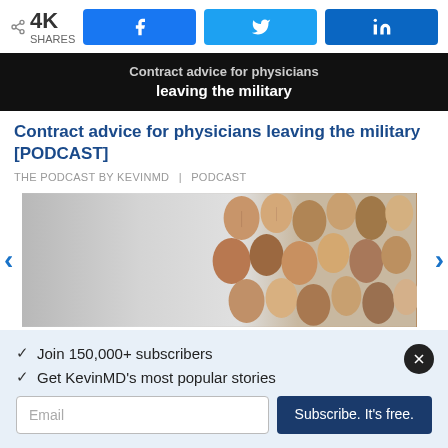4K SHARES | Facebook share | Twitter share | LinkedIn share
[Figure (screenshot): Black banner with text 'Contract advice for physicians leaving the military']
Contract advice for physicians leaving the military [PODCAST]
THE PODCAST BY KEVINMD | PODCAST
[Figure (photo): Carousel image showing crowd of diverse human face profiles made from colored paper/clay, with silver gradient on left side. Navigation arrows on left and right.]
✓ Join 150,000+ subscribers
✓ Get KevinMD's most popular stories
Email | Subscribe. It's free.